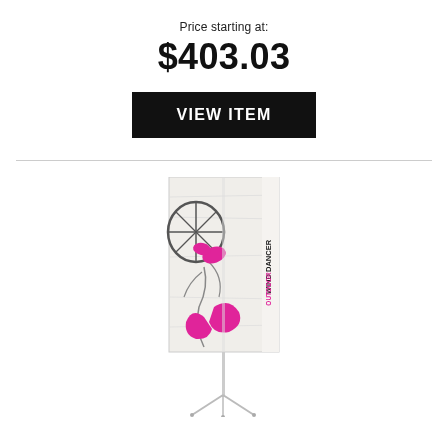Price starting at:
$403.03
VIEW ITEM
[Figure (photo): Wind Dancer Outdoor banner flag display on a tripod stand. The banner shows a floral/plant design with pink accents and text 'WIND DANCER OUTDOOR' on the side.]